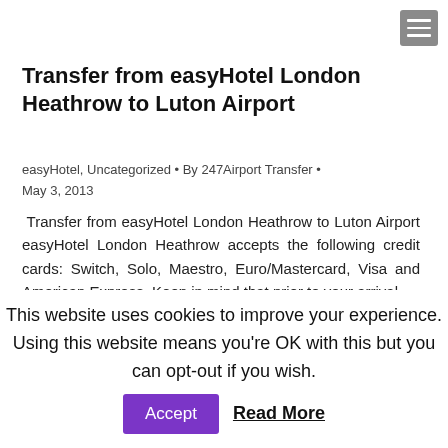Transfer from easyHotel London Heathrow to Luton Airport
easyHotel, Uncategorized • By 247Airport Transfer • May 3, 2013
Transfer from easyHotel London Heathrow to Luton Airport easyHotel London Heathrow accepts the following credit cards: Switch, Solo, Maestro, Euro/Mastercard, Visa and American Express. Keep in mind that prior to your arrival
This website uses cookies to improve your experience. Using this website means you're OK with this but you can opt-out if you wish. Accept Read More